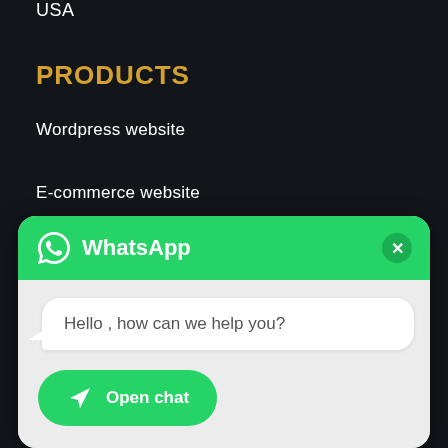USA
PRODUCTS
Wordpress website
E-commerce website
App Development
Digital Marketing
[Figure (screenshot): WhatsApp chat popup widget with green header showing WhatsApp logo and name, close button, a chat bubble saying 'Hello , how can we help you?', and an 'Open chat' green button with send icon.]